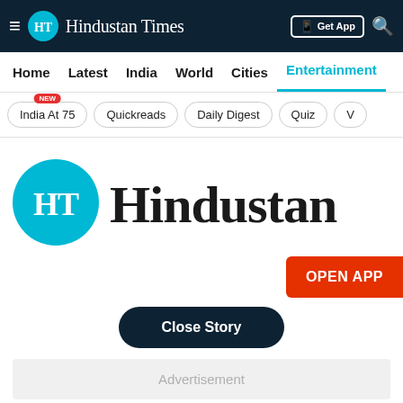≡ HT Hindustan Times   Get App 🔍
Home   Latest   India   World   Cities   Entertainment
India At 75 [NEW]
Quickreads
Daily Digest
Quiz
V
[Figure (logo): Hindustan Times logo — teal circle with HT letters and blackletter Hindustan Times wordmark]
OPEN APP
Close Story
Advertisement